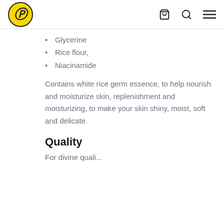P [logo] [cart icon] [search icon] [menu icon]
Glycerine
Rice flour,
Niacinamide
Contains white rice germ essence, to help nourish and moisturize skin, replenishment and moisturizing, to make your skin shiny, moist, soft and delicate.
Quality
For divine quality...